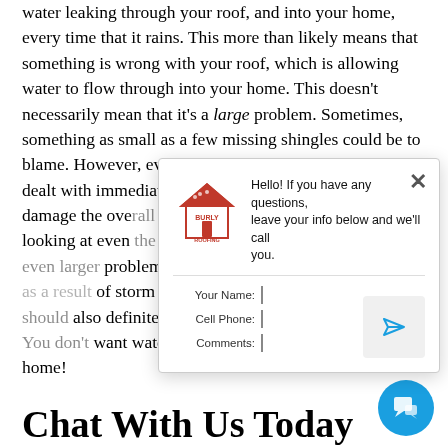water leaking through your roof, and into your home, every time that it rains. This more than likely means that something is wrong with your roof, which is allowing water to flow through into your home. This doesn't necessarily mean that it's a large problem. Sometimes, something as small as a few missing shingles could be to blame. However, even this small problem needs to be dealt with immediately, as water will only continue to damage the overall structure if the problem goes without looking at even the slightest problem. Sometimes, a roof has an even larger problem — such as larger holes in your roof as a result of storm damage. If this is the case, you should also definitely be looking at a roof replacement. You don't want water to continue flowing through your home!
[Figure (screenshot): Chat popup from Burly Roofing with logo, greeting message, and a contact form with fields for Your Name, Cell Phone, Comments, and a send button arrow.]
Chat With Us Today
[Figure (other): Blue circular chat widget button in bottom right corner with chat bubble icon.]